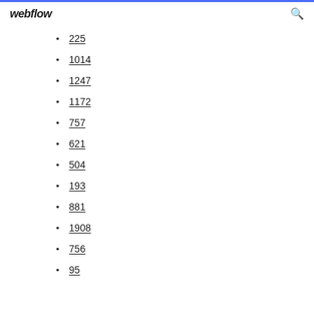webflow
225
1014
1247
1172
757
621
504
193
881
1908
756
95